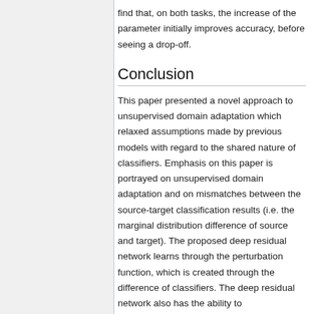find that, on both tasks, the increase of the parameter initially improves accuracy, before seeing a drop-off.
Conclusion
This paper presented a novel approach to unsupervised domain adaptation which relaxed assumptions made by previous models with regard to the shared nature of classifiers. Emphasis on this paper is portrayed on unsupervised domain adaptation and on mismatches between the source-target classification results (i.e. the marginal distribution difference of source and target). The proposed deep residual network learns through the perturbation function, which is created through the difference of classifiers. The deep residual network also has the ability to